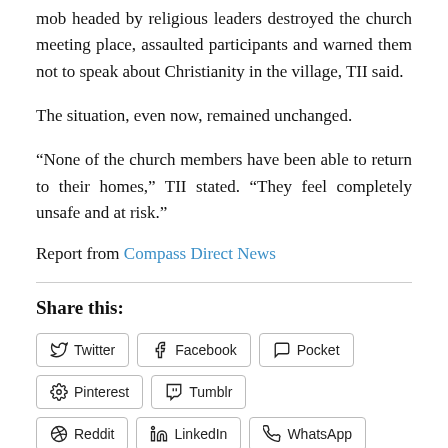mob headed by religious leaders destroyed the church meeting place, assaulted participants and warned them not to speak about Christianity in the village, TII said.
The situation, even now, remained unchanged.
“None of the church members have been able to return to their homes,” TII stated. “They feel completely unsafe and at risk.”
Report from Compass Direct News
Share this:
Twitter
Facebook
Pocket
Pinterest
Tumblr
Reddit
LinkedIn
WhatsApp
Email
Print